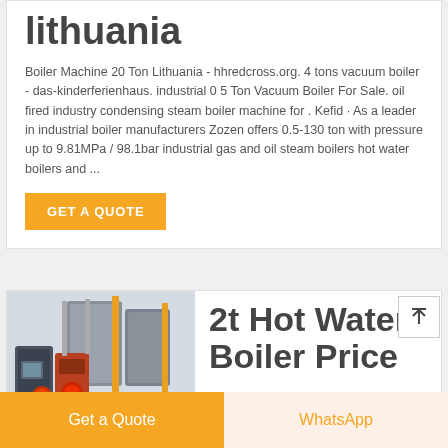lithuania
Boiler Machine 20 Ton Lithuania - hhredcross.org. 4 tons vacuum boiler - das-kinderferienhaus. industrial 0 5 Ton Vacuum Boiler For Sale. oil fired industry condensing steam boiler machine for . Kefid · As a leader in industrial boiler manufacturers Zozen offers 0.5-130 ton with pressure up to 9.81MPa / 98.1bar industrial gas and oil steam boilers hot water boilers and ...
[Figure (other): Orange GET A QUOTE button]
[Figure (photo): Photo of industrial hot water boilers and equipment in a facility]
2t Hot Water Boiler Price
[Figure (other): Scroll to top arrow button]
Get a Quote
WhatsApp